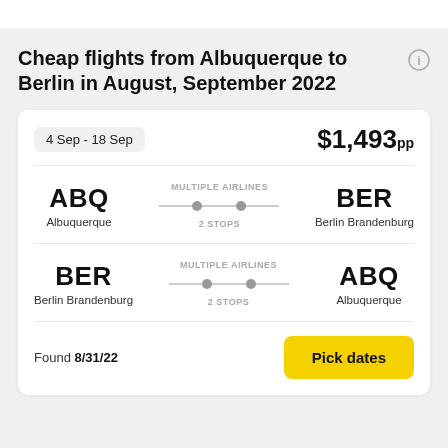Cheap flights from Albuquerque to Berlin in August, September 2022
| Date | Price |
| --- | --- |
| 4 Sep - 18 Sep | $1,493pp |
ABQ Albuquerque — MULTIPLE AIRLINES — 2 STOPS — BER Berlin Brandenburg
BER Berlin Brandenburg — MULTIPLE AIRLINES — 2 STOPS — ABQ Albuquerque
Found 8/31/22
Pick dates